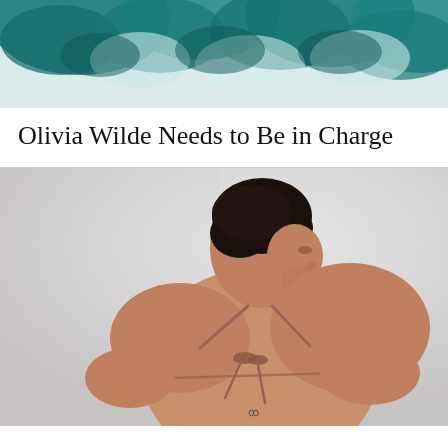[Figure (photo): Top portion of a photo showing teal/turquoise ruffled fabric or clothing against a light background, cropped at the top of the page.]
Olivia Wilde Needs to Be in Charge
[Figure (photo): Photo of a young man with short dark hair, tanned skin, looking over his shoulder. He is shirtless/wearing a bikini top with thin straps tied at the back and neck. Background is blurred light grey/white outdoor setting.]